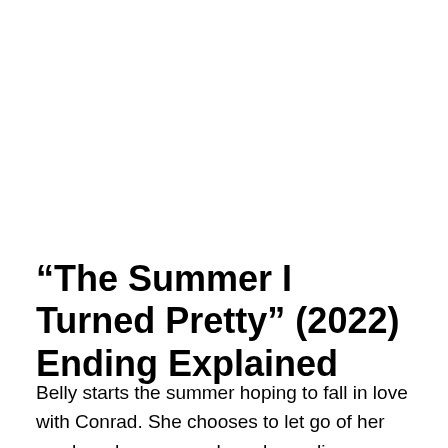“The Summer I Turned Pretty” (2022) Ending Explained
Belly starts the summer hoping to fall in love with Conrad. She chooses to let go of her crush and move on when she realises Conrad does not see her in that light. Three boys have fallen in love with her before the end of the summer. While she is